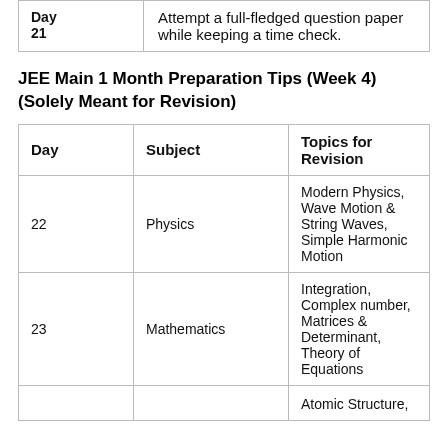| Day | Topics for Revision |
| --- | --- |
| Day 21 | Attempt a full-fledged question paper while keeping a time check. |
JEE Main 1 Month Preparation Tips (Week 4) (Solely Meant for Revision)
| Day | Subject | Topics for Revision |
| --- | --- | --- |
| 22 | Physics | Modern Physics, Wave Motion & String Waves, Simple Harmonic Motion |
| 23 | Mathematics | Integration, Complex number, Matrices & Determinant, Theory of Equations |
| 24 |  | Atomic Structure, |